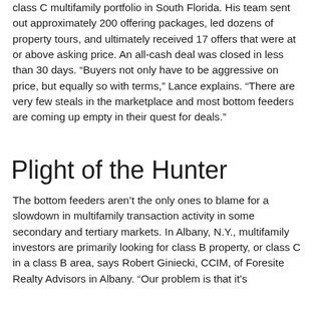class C multifamily portfolio in South Florida. His team sent out approximately 200 offering packages, led dozens of property tours, and ultimately received 17 offers that were at or above asking price. An all-cash deal was closed in less than 30 days. “Buyers not only have to be aggressive on price, but equally so with terms,” Lance explains. “There are very few steals in the marketplace and most bottom feeders are coming up empty in their quest for deals.”
Plight of the Hunter
The bottom feeders aren’t the only ones to blame for a slowdown in multifamily transaction activity in some secondary and tertiary markets. In Albany, N.Y., multifamily investors are primarily looking for class B property, or class C in a class B area, says Robert Giniecki, CCIM, of Foresite Realty Advisors in Albany. “Our problem is that it’s